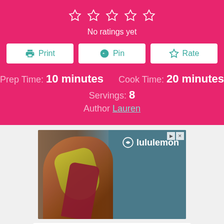No ratings yet
Print  Pin  Rate
Prep Time: 10 minutes    Cook Time: 20 minutes
Servings: 8
Author Lauren
[Figure (photo): Lululemon advertisement featuring a woman with curly red hair wearing activewear doing a yoga/dance pose]
[Figure (photo): Walgreens Photo advertisement — Shop Cosmetics and Accessories]